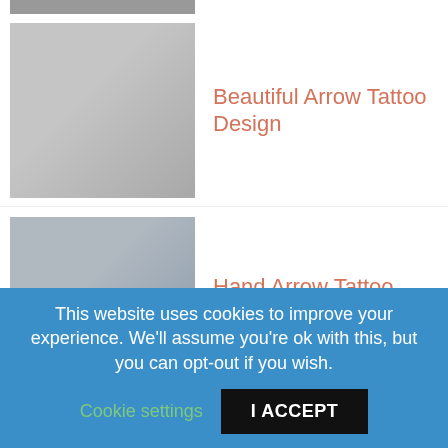[Figure (photo): Partial thumbnail of tattoo image at top of page (cropped)]
Beautiful Arrow Tattoo Design
Hand Arrow Tattoo Design
Cool Army Tattoo Design
Eagle Tattoo Design For Women
This website uses cookies to improve your experience. We'll assume you're ok with this, but you can opt-out if you wish.
Cookie settings
I ACCEPT